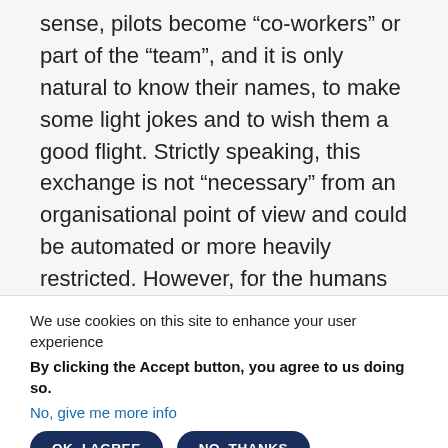sense, pilots become “co-workers” or part of the “team”, and it is only natural to know their names, to make some light jokes and to wish them a good flight. Strictly speaking, this exchange is not “necessary” from an organisational point of view and could be automated or more heavily restricted. However, for the humans in the system this element of their work practice might fulfil an important psychological need, which strongly adds to their work satisfaction.
We use cookies on this site to enhance your user experience
By clicking the Accept button, you agree to us doing so.
No, give me more info
OK, I AGREE
NO, THANKS